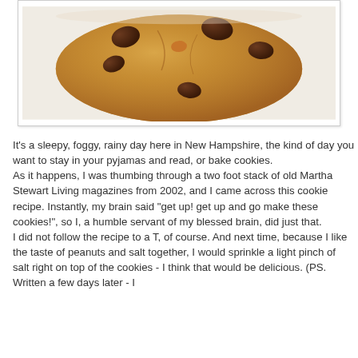[Figure (photo): Close-up photo of a chocolate chip cookie with peanut butter tones, showing visible chocolate chips on top, on a white background.]
It's a sleepy, foggy, rainy day here in New Hampshire, the kind of day you want to stay in your pyjamas and read, or bake cookies.
As it happens, I was thumbing through a two foot stack of old Martha Stewart Living magazines from 2002, and I came across this cookie recipe. Instantly, my brain said "get up! get up and go make these cookies!", so I, a humble servant of my blessed brain, did just that.
I did not follow the recipe to a T, of course. And next time, because I like the taste of peanuts and salt together, I would sprinkle a light pinch of salt right on top of the cookies - I think that would be delicious. (PS. Written a few days later - I